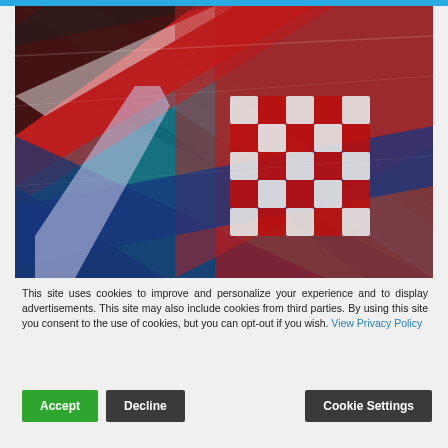[Figure (photo): Blurred/artistic image of the Croatian flag (red, white, blue horizontal stripes with red-white checkerboard coat of arms) with motion blur and teal/blue background elements. Appears to be a composite or digitally processed photograph.]
This site uses cookies to improve and personalize your experience and to display advertisements. This site may also include cookies from third parties. By using this site you consent to the use of cookies, but you can opt-out if you wish. View Privacy Policy
Accept
Decline
Cookie Settings